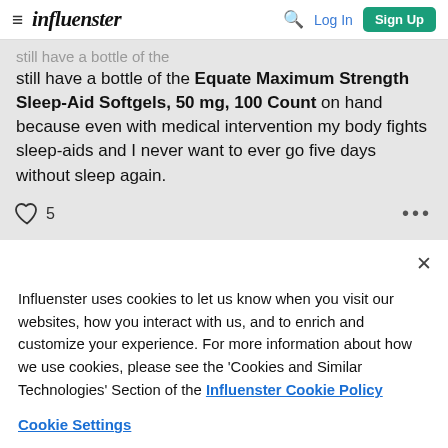influenster — Log In | Sign Up
still have a bottle of the Equate Maximum Strength Sleep-Aid Softgels, 50 mg, 100 Count on hand because even with medical intervention my body fights sleep-aids and I never want to ever go five days without sleep again.
♡ 5 ...
Influenster uses cookies to let us know when you visit our websites, how you interact with us, and to enrich and customize your experience. For more information about how we use cookies, please see the 'Cookies and Similar Technologies' Section of the Influenster Cookie Policy
Cookie Settings